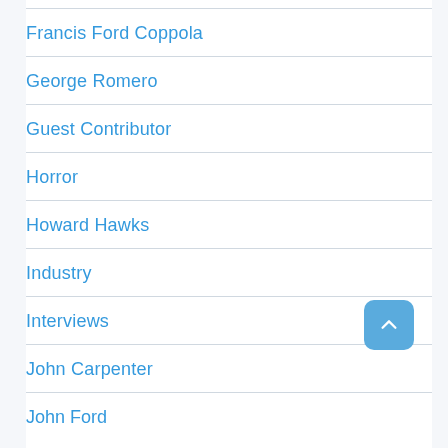Francis Ford Coppola
George Romero
Guest Contributor
Horror
Howard Hawks
Industry
Interviews
John Carpenter
John Ford